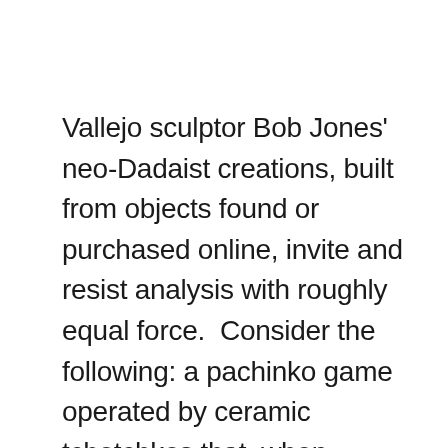Vallejo sculptor Bob Jones' neo-Dadaist creations, built from objects found or purchased online, invite and resist analysis with roughly equal force.  Consider the following: a pachinko game operated by ceramic tchotchkes that, when twisted, supposedly diagram a sentence; a leaning cupboard filled with upside-down coffee mugs; a porcelain elephant bearing bisected halves of a model sailing ship that once functioned as bookends; a thrift store plate carrying a pastoral scene bracketed by metal rulers; and a pair of ceramic conifers